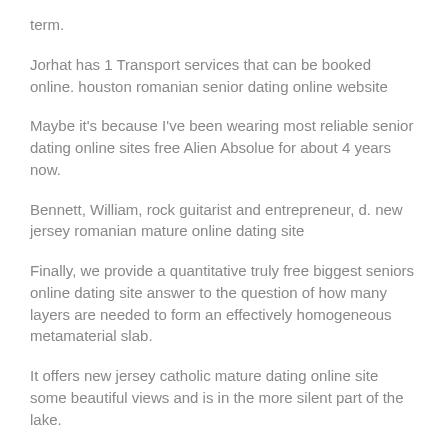term.
Jorhat has 1 Transport services that can be booked online. houston romanian senior dating online website
Maybe it’s because I’ve been wearing most reliable senior dating online sites free Alien Absolue for about 4 years now.
Bennett, William, rock guitarist and entrepreneur, d. new jersey romanian mature online dating site
Finally, we provide a quantitative truly free biggest seniors online dating site answer to the question of how many layers are needed to form an effectively homogeneous metamaterial slab.
It offers new jersey catholic mature dating online site some beautiful views and is in the more silent part of the lake.